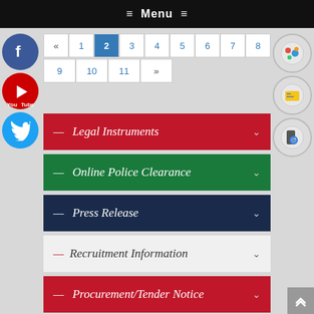≡ Menu ≡
« 1 2 3 4 5 6 7 8 9 10 11 »
— Legal Instruments
— Online Police Clearance
— Press Release
— Recruitment Information
— Procurement/Tender Notice
— Expatriate Help Cell